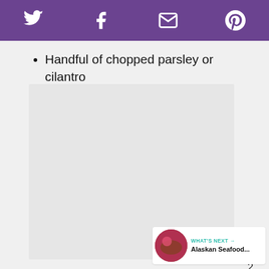Social share bar with Twitter, Facebook, Email, Pinterest icons
Handful of chopped parsley or cilantro
[Figure (photo): Large image placeholder area, light gray background]
2
WHAT'S NEXT → Alaskan Seafood...